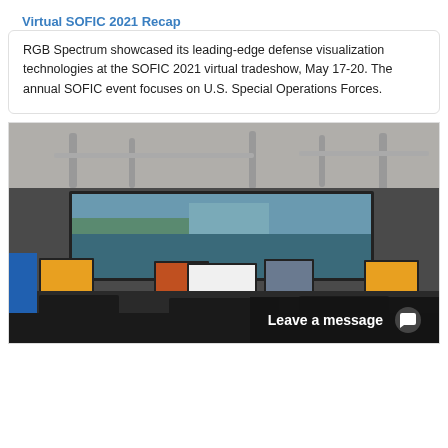Virtual SOFIC 2021 Recap
RGB Spectrum showcased its leading-edge defense visualization technologies at the SOFIC 2021 virtual tradeshow, May 17-20. The annual SOFIC event focuses on U.S. Special Operations Forces.
[Figure (photo): Control room with multiple monitors and large display wall showing aerial imagery, with a 'Leave a message' chat overlay in the bottom right corner.]